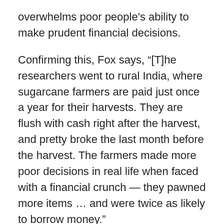overwhelms poor people's ability to make prudent financial decisions.
Confirming this, Fox says, “[T]he researchers went to rural India, where sugarcane farmers are paid just once a year for their harvests. They are flush with cash right after the harvest, and pretty broke the last month before the harvest. The farmers made more poor decisions in real life when faced with a financial crunch — they pawned more items … and were twice as likely to borrow money.”
What alternatives did they have at the time? Their decisions when they were “flush with cash” can't have been all that prudent, or they wouldn't be in dire straits now.
An unexpected car repair of $1,500 will stress someone